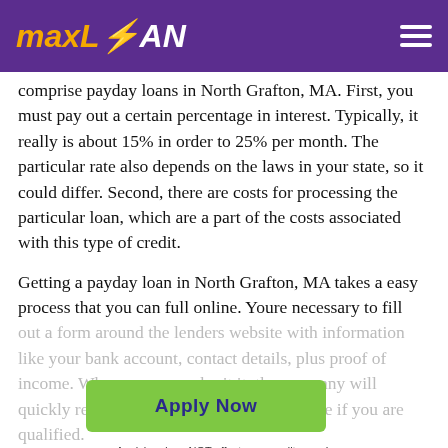maxLOAN
comprise payday loans in North Grafton, MA. First, you must pay out a certain percentage in interest. Typically, it really is about 15% in order to 25% per month. The particular rate also depends on the laws in your state, so it could differ. Second, there are costs for processing the particular loan, which are a part of the costs associated with this type of credit.
Getting a payday loan in North Grafton, MA takes a easy process that you can full online. Youre necessary to fill out a form around the lenders website with information like your bank account, contact details, plus proof of income. Whenever you submit it, the company will quickly review almost everything and decide if you are qualified.